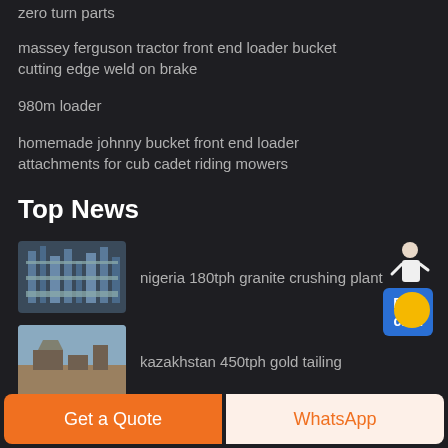zero turn parts
massey ferguson tractor front end loader bucket cutting edge weld on brake
980m loader
homemade johnny bucket front end loader attachments for cub cadet riding mowers
[Figure (illustration): Customer service representative with Free chat button widget]
Top News
[Figure (photo): Industrial granite crushing plant machinery - Nigeria 180tph granite crushing plant thumbnail]
nigeria 180tph granite crushing plant
[Figure (photo): Kazakhstan gold tailings site thumbnail]
kazakhstan 450tph gold tailing
Get a Quote
WhatsApp